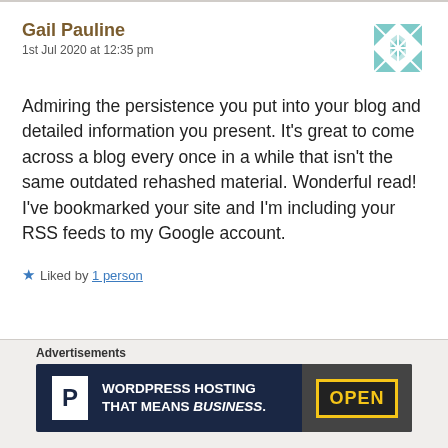Gail Pauline
1st Jul 2020 at 12:35 pm
Admiring the persistence you put into your blog and detailed information you present. It's great to come across a blog every once in a while that isn't the same outdated rehashed material. Wonderful read! I've bookmarked your site and I'm including your RSS feeds to my Google account.
★ Liked by 1 person
Reply
Advertisements
WORDPRESS HOSTING THAT MEANS BUSINESS.